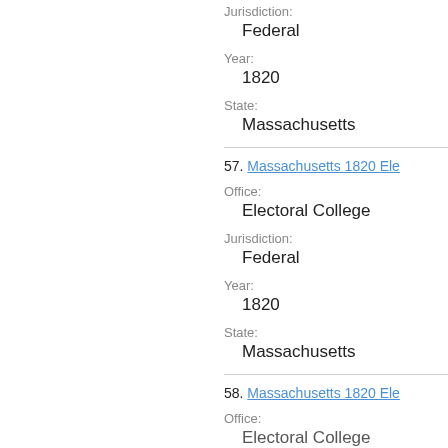Jurisdiction:
Federal
Year:
1820
State:
Massachusetts
57. Massachusetts 1820 Ele...
Office:
Electoral College
Jurisdiction:
Federal
Year:
1820
State:
Massachusetts
58. Massachusetts 1820 Ele...
Office:
Electoral College